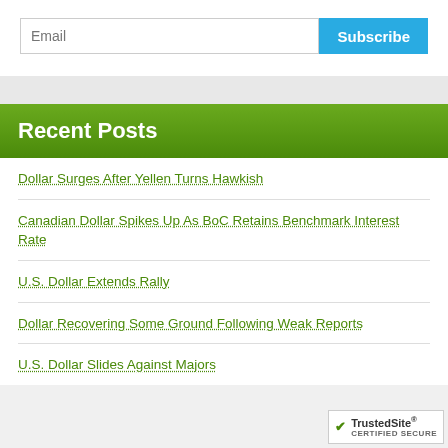[Figure (screenshot): Email subscription input field with 'Email' placeholder text and a blue 'Subscribe' button]
Recent Posts
Dollar Surges After Yellen Turns Hawkish
Canadian Dollar Spikes Up As BoC Retains Benchmark Interest Rate
U.S. Dollar Extends Rally
Dollar Recovering Some Ground Following Weak Reports
U.S. Dollar Slides Against Majors
[Figure (logo): TrustedSite CERTIFIED SECURE badge]